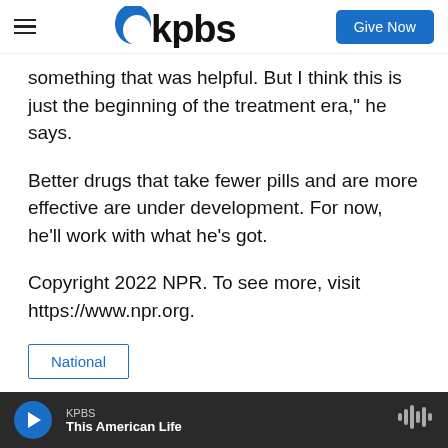kpbs | Give Now
something that was helpful. But I think this is just the beginning of the treatment era," he says.
Better drugs that take fewer pills and are more effective are under development. For now, he'll work with what he's got.
Copyright 2022 NPR. To see more, visit https://www.npr.org.
National
Pien Huang
KPBS  This American Life